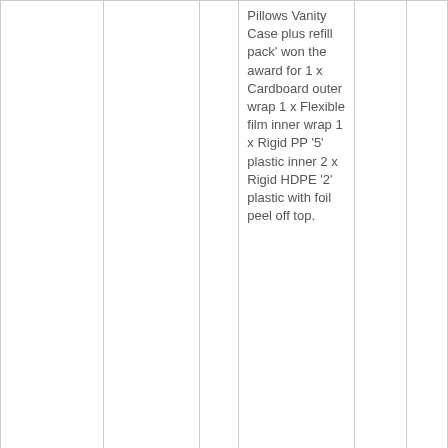| Category | Organisation |  | Description | Date | Country |
| --- | --- | --- | --- | --- | --- |
|  |  |  | Pillows Vanity Case plus refill pack' won the award for 1 x Cardboard outer wrap 1 x Flexible film inner wrap 1 x Rigid PP '5' plastic inner 2 x Rigid HDPE '2' plastic with foil peel off top. |  |  |
| Environmental :: Packaging / Recycling | Environment Victoria |  | Smiths awarded the 'most likely to be littered' award in Environment Victoria's DUMP report 2007. Seakist* Lunch Kit pack... | Feb. 6, 2007 | Uni Aus |